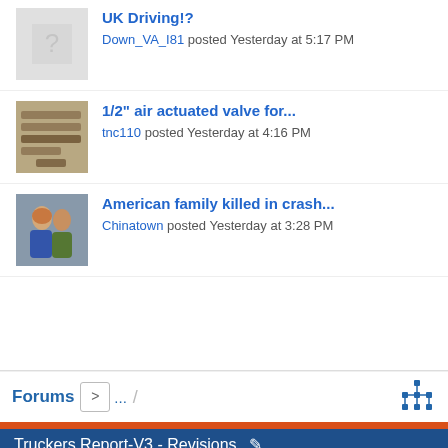UK Driving!? Down_VA_I81 posted Yesterday at 5:17 PM
1/2" air actuated valve for... tnc110 posted Yesterday at 4:16 PM
American family killed in crash... Chinatown posted Yesterday at 3:28 PM
Forums ...
Truckers Report-V3 - Revisions   Contact Us  Help  Terms and Rules  Privacy  ABOUT US  TRUCKER NEWS  LIBRARY